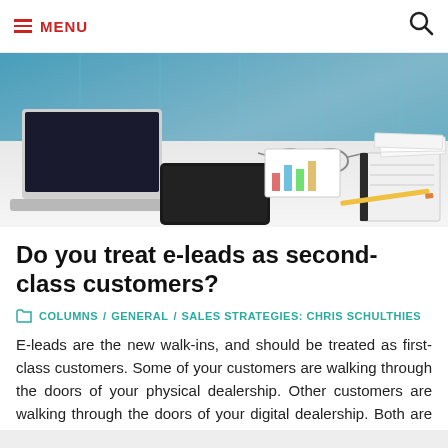MENU
[Figure (photo): Office desk scene with laptop, glasses, tablet, notebook, papers, and charts in background]
Do you treat e-leads as second-class customers?
COLUMNS / GENERAL / SALES STRATEGIES: CHRIS SCHULTHIES
E-leads are the new walk-ins, and should be treated as first-class customers. Some of your customers are walking through the doors of your physical dealership. Other customers are walking through the doors of your digital dealership. Both are customers. Both ...
CHRIS SCHULTHIES